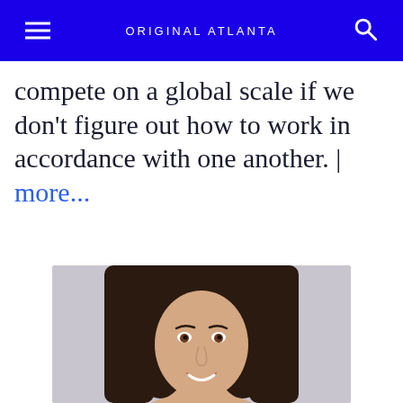ORIGINAL ATLANTA
compete on a global scale if we don't figure out how to work in accordance with one another. | more...
[Figure (photo): Headshot of a woman with long dark hair, smiling, against a light gray background.]